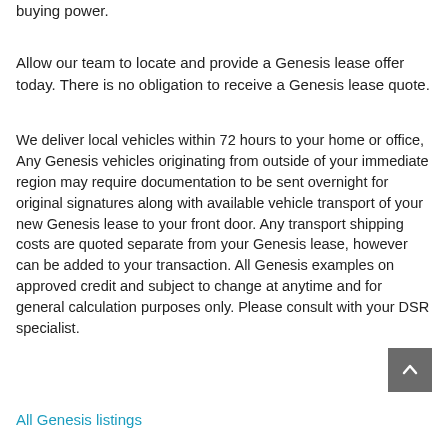buying power.
Allow our team to locate and provide a Genesis lease offer today. There is no obligation to receive a Genesis lease quote.
We deliver local vehicles within 72 hours to your home or office, Any Genesis vehicles originating from outside of your immediate region may require documentation to be sent overnight for original signatures along with available vehicle transport of your new Genesis lease to your front door. Any transport shipping costs are quoted separate from your Genesis lease, however can be added to your transaction. All Genesis examples on approved credit and subject to change at anytime and for general calculation purposes only. Please consult with your DSR specialist.
All Genesis listings